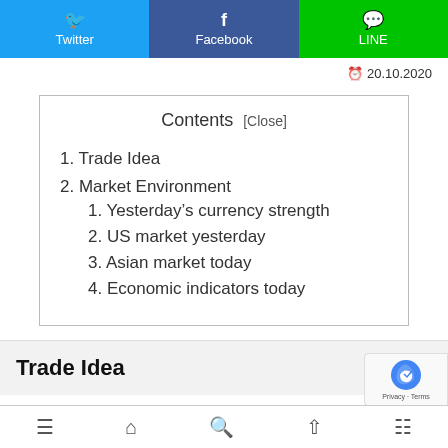Twitter  Facebook  LINE
20.10.2020
Contents [Close]
1. Trade Idea
2. Market Environment
1. Yesterday's currency strength
2. US market yesterday
3. Asian market today
4. Economic indicators today
Trade Idea